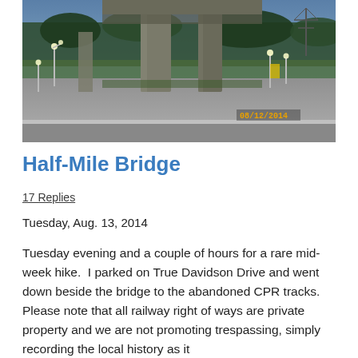[Figure (photo): Dusk photograph taken under a large concrete railway viaduct/bridge. Concrete pillars are prominent in the center. Street lights are visible along a road. Trees and a power line tower are visible in the background. A timestamp reads 08/12/2014 in the lower right corner.]
Half-Mile Bridge
17 Replies
Tuesday, Aug. 13, 2014
Tuesday evening and a couple of hours for a rare mid-week hike.  I parked on True Davidson Drive and went down beside the bridge to the abandoned CPR tracks.  Please note that all railway right of ways are private property and we are not promoting trespassing, simply recording the local history as it